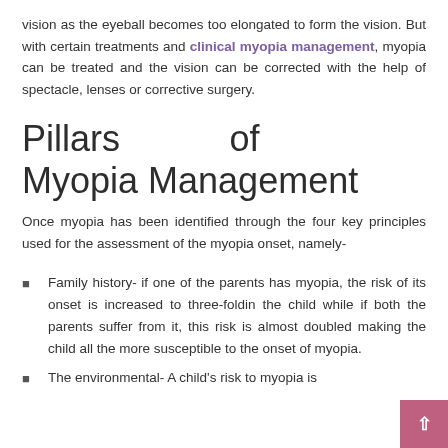vision as the eyeball becomes too elongated to form the vision. But with certain treatments and clinical myopia management, myopia can be treated and the vision can be corrected with the help of spectacle, lenses or corrective surgery.
Pillars of Myopia Management
Once myopia has been identified through the four key principles used for the assessment of the myopia onset, namely-
Family history- if one of the parents has myopia, the risk of its onset is increased to three-foldin the child while if both the parents suffer from it, this risk is almost doubled making the child all the more susceptible to the onset of myopia.
The environmental- A child's risk to myopia is